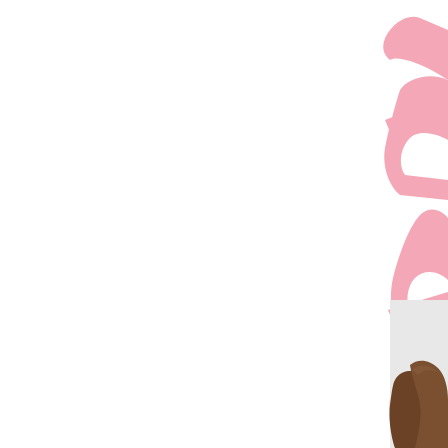[Figure (illustration): Page showing mostly white space on the left portion, with large pink decorative italic/script lettering visible on the right edge (partially cropped), and at the bottom right corner, the top of a person's head with long brown hair is visible against a light gray/white background.]